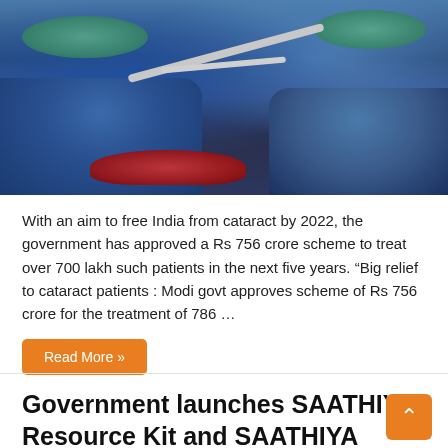[Figure (photo): Medical surgeons in blue scrubs and teal surgical masks performing an eye surgery procedure, with surgical microscope equipment visible above the operating area and a red surgical cloth below.]
With an aim to free India from cataract by 2022, the government has approved a Rs 756 crore scheme to treat over 700 lakh such patients in the next five years. “Big relief to cataract patients : Modi govt approves scheme of Rs 756 crore for the treatment of 786 …
Read More »
Government launches SAATHIYA Resource Kit and SAATHIYA SALAH mobile app for adolescents